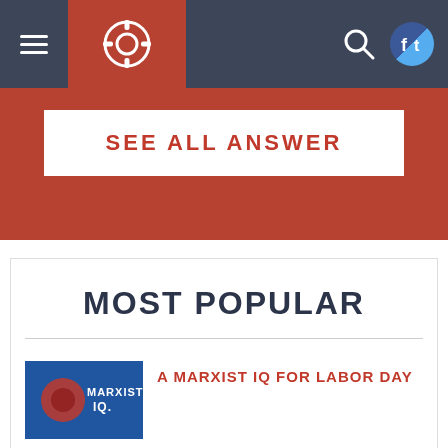Navigation bar with hamburger menu, gear logo, search icon, and social media icons
SEE ALL ANSWER
MOST POPULAR
A MARXIST IQ FOR LABOR DAY
CP AND YCL CHALK UP NEW MEMBERS IN MANHATTAN